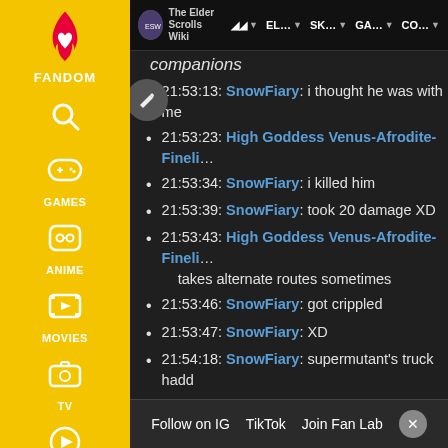[Figure (screenshot): Fandom website sidebar with navigation icons for Games, Anime, Movies, TV, Video categories on yellow background]
The Elder Scrolls Wiki | AA | EL... | SK... | GA... | CO...
companions
21:53:13: SnowFiary: i thought he was with me
21:53:23: High Goddess Venus-Afrodite-Fineli...
21:53:34: SnowFiary: i killed him
21:53:39: SnowFiary: took 20 damage XD
21:53:43: High Goddess Venus-Afrodite-Fineli... takes alternate routes sometimes
21:53:46: SnowFiary: got crippled
21:53:47: SnowFiary: XD
21:54:18: SnowFiary: supermutant's truck hadd...
21:54:33: High Goddess Venus-Afrodite-Fineli... traveled a certain distance so check if your fo...
21:54:43: High Goddess Venus-Afrodite-Fineli...
21:54:45: SnowFiary: sad thign is i travled like...
21:54:53: High Goddess Venus-Afrodite-Fineli...
21:55:21: SnowFiary: waited 2 hours
21:55:33: SnowFiary: still not here
Follow on IG | TikTok | Join Fan Lab | X